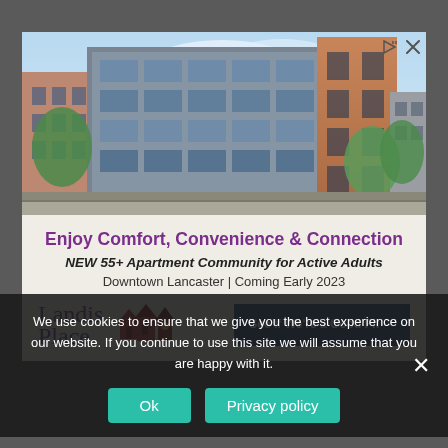[Figure (illustration): Architectural rendering of a modern multi-story apartment building with glass facade and brick accents, street-level view with trees and urban surroundings]
Enjoy Comfort, Convenience & Connection
NEW 55+ Apartment Community for Active Adults
Downtown Lancaster | Coming Early 2023
[Figure (logo): Landis Place logo with house/building icons in red and text in purple]
See If We're a Good Fit →
We use cookies to ensure that we give you the best experience on our website. If you continue to use this site we will assume that you are happy with it.
Ok
Privacy policy